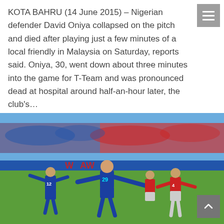KOTA BAHRU (14 June 2015) – Nigerian defender David Oniya collapsed on the pitch and died after playing just a few minutes of a local friendly in Malaysia on Saturday, reports said. Oniya, 30, went down about three minutes into the game for T-Team and was pronounced dead at hospital around half-an-hour later, the club's…
[Figure (photo): Soccer match photo showing players in blue Thailand jerseys (numbers 12 and 29) celebrating a goal, with players in red Indonesia jerseys in the background. Stadium setting with blue advertising boards visible.]